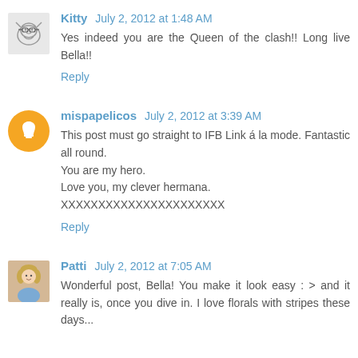Kitty July 2, 2012 at 1:48 AM
Yes indeed you are the Queen of the clash!! Long live Bella!!
Reply
mispapelicos July 2, 2012 at 3:39 AM
This post must go straight to IFB Link á la mode. Fantastic all round.
You are my hero.
Love you, my clever hermana.
XXXXXXXXXXXXXXXXXXXXX
Reply
Patti July 2, 2012 at 7:05 AM
Wonderful post, Bella! You make it look easy : > and it really is, once you dive in. I love florals with stripes these days...